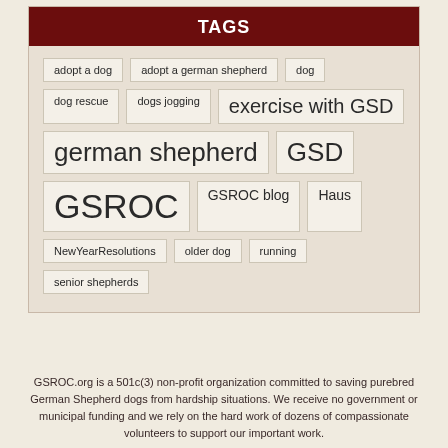TAGS
adopt a dog
adopt a german shepherd
dog
dog rescue
dogs jogging
exercise with GSD
german shepherd
GSD
GSROC
GSROC blog
Haus
NewYearResolutions
older dog
running
senior shepherds
GSROC.org is a 501c(3) non-profit organization committed to saving purebred German Shepherd dogs from hardship situations. We receive no government or municipal funding and we rely on the hard work of dozens of compassionate volunteers to support our important work.